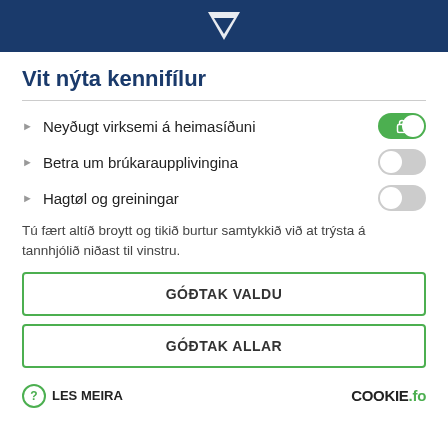[Figure (logo): Dark blue header bar with white chevron/V logo centered]
Vit nýta kennifílur
Neyðugt virksemi á heimasíðuni
Betra um brúkaraupplivingina
Hagtøl og greiningar
Tú fært altíð broytt og tikið burtur samtykkið við at trýsta á tannhjólið niðast til vinstru.
GÓÐTAK VALDU
GÓÐTAK ALLAR
LES MEIRA
COOKIE.fo